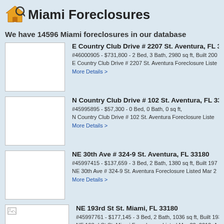Miami Foreclosures
We have 14596 Miami foreclosures in our database
E Country Club Drive # 2207 St. Aventura, FL 33180
#46000905 - $731,800 - 2 Bed, 3 Bath, 2980 sq ft, Built 200
E Country Club Drive # 2207 St. Aventura Foreclosure Liste
More Details >
N Country Club Drive # 102 St. Aventura, FL 33180
#45995895 - $57,300 - 0 Bed, 0 Bath, 0 sq ft,
N Country Club Drive # 102 St. Aventura Foreclosure Liste
More Details >
NE 30th Ave # 324-9 St. Aventura, FL 33180
#45997415 - $137,659 - 3 Bed, 2 Bath, 1380 sq ft, Built 197
NE 30th Ave # 324-9 St. Aventura Foreclosure Listed Mar 2
More Details >
NE 193rd St St. Miami, FL 33180
#45997761 - $177,145 - 3 Bed, 2 Bath, 1036 sq ft, Built 193
NE 193rd St St. Miami Foreclosure Listed Mar 22, 2012, Au
More Details >
NE 187th St # 214 St. Aventura, FL 33180
#45997867 - $265,914 - 3 Bed, 2 Bath, 1267 sq ft, Built 19